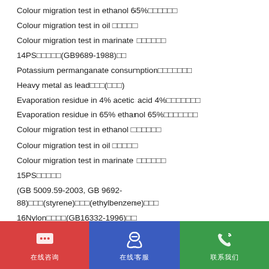Colour migration test in ethanol 65%
Colour migration test in oil
Colour migration test in marinate
14PS　　　　　(GB9689-1988)
Potassium permanganate consumption
Heavy metal as lead　　　(　　)
Evaporation residue in 4% acetic acid 4%
Evaporation residue in 65% ethanol 65%
Colour migration test in ethanol
Colour migration test in oil
Colour migration test in marinate
15PS
(GB 5009.59-2003, GB 9692-88)　　　(styrene)　　　(ethylbenzene)
16Nylon　　　　(GB16332-1996)
Potassium permanganate consumption
Heavy metal as lead　　　(　　)
在线咨询　　在线客服　　联系我们